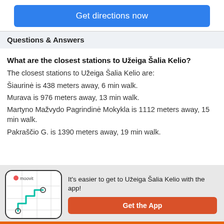Get directions now
Questions & Answers
What are the closest stations to Užeiga Šalia Kelio?
The closest stations to Užeiga Šalia Kelio are:
Šiaurinė is 438 meters away, 6 min walk.
Murava is 976 meters away, 13 min walk.
Martyno Mažvydo Pagrindinė Mokykla is 1112 meters away, 15 min walk.
Pakraščio G. is 1390 meters away, 19 min walk.
[Figure (screenshot): Moovit app phone illustration with route map]
It's easier to get to Užeiga Šalia Kelio with the app!
Get the App